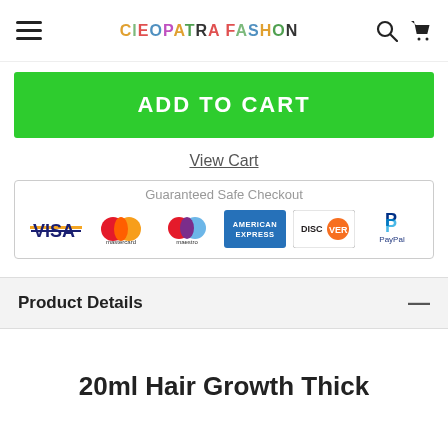CLEOPATRA FASHION
ADD TO CART
View Cart
[Figure (infographic): Guaranteed Safe Checkout panel showing payment logos: Visa, Mastercard, Maestro, American Express, Discover, PayPal]
Product Details
20ml Hair Growth Thick